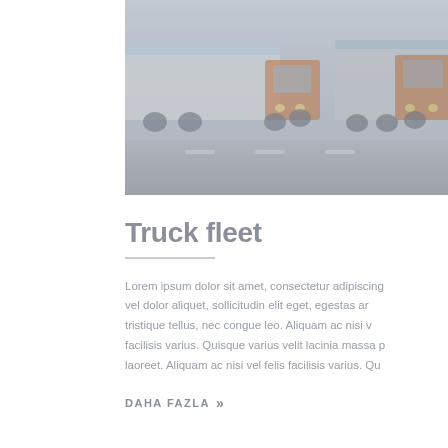[Figure (photo): Photo of trucks on a highway, showing orange/red semi-trucks hauling trailers, slightly faded/muted color tone]
Truck fleet
Lorem ipsum dolor sit amet, consectetur adipiscing vel dolor aliquet, sollicitudin elit eget, egestas ar tristique tellus, nec congue leo. Aliquam ac nisi v facilisis varius. Quisque varius velit lacinia massa p laoreet. Aliquam ac nisi vel felis facilisis varius. Qu
DAHA FAZLA »